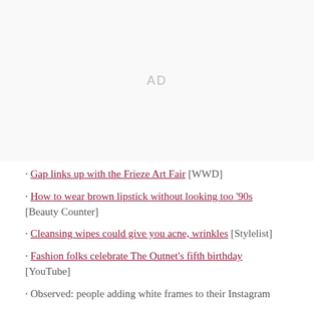[Figure (other): Advertisement placeholder area with 'AD' text in light gray]
· Gap links up with the Frieze Art Fair [WWD]
· How to wear brown lipstick without looking too '90s [Beauty Counter]
· Cleansing wipes could give you acne, wrinkles [Stylelist]
· Fashion folks celebrate The Outnet's fifth birthday [YouTube]
· Observed: people adding white frames to their Instagram